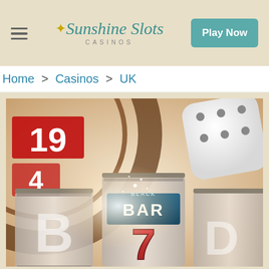[Figure (screenshot): Sunshine Slots Casinos website header with hamburger menu icon on left, cursive logo in center, and teal Play Now button on right, on a beige/cream background]
Home > Casinos > UK
[Figure (illustration): Casino themed illustration showing slot machine reels with number 7 and BAR symbols, roulette wheel showing number 19, large white dice, on a warm cream and red background with light flares]